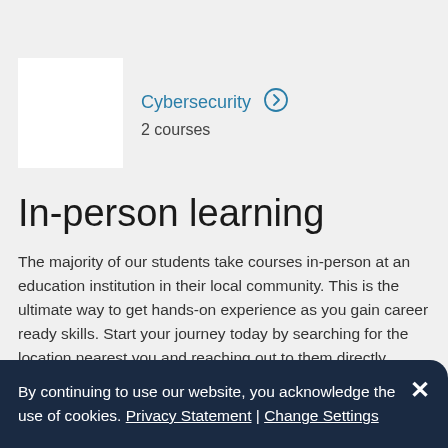[Figure (other): Cybersecurity course card with white image placeholder on left, showing title 'Cybersecurity' with right arrow icon and '2 courses' below]
In-person learning
The majority of our students take courses in-person at an education institution in their local community. This is the ultimate way to get hands-on experience as you gain career ready skills. Start your journey today by searching for the location nearest you and reaching out to them directly.
Over 12,000 locations globally
By continuing to use our website, you acknowledge the use of cookies. Privacy Statement | Change Settings